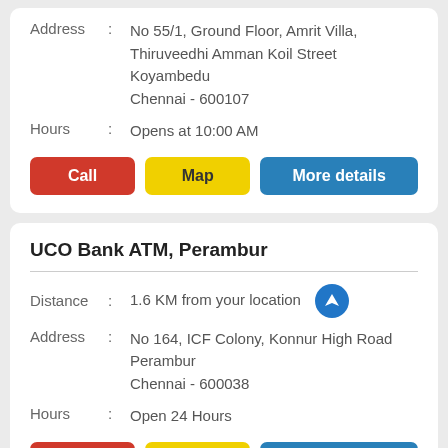Address : No 55/1, Ground Floor, Amrit Villa, Thiruveedhi Amman Koil Street Koyambedu Chennai - 600107
Hours : Opens at 10:00 AM
Call | Map | More details
UCO Bank ATM, Perambur
Distance : 1.6 KM from your location
Address : No 164, ICF Colony, Konnur High Road Perambur Chennai - 600038
Hours : Open 24 Hours
Call | Map | More details